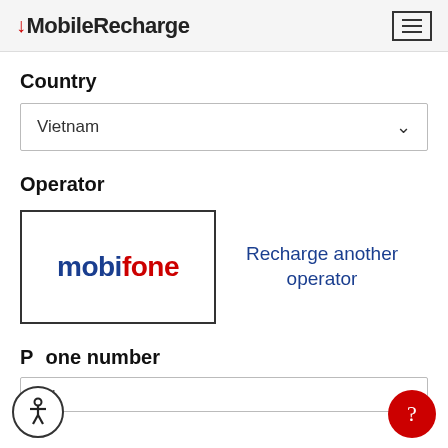MobileRecharge
Country
Vietnam
Operator
[Figure (logo): Mobifone operator logo with blue 'mobi' and red 'fone' text]
Recharge another operator
Phone number
+84